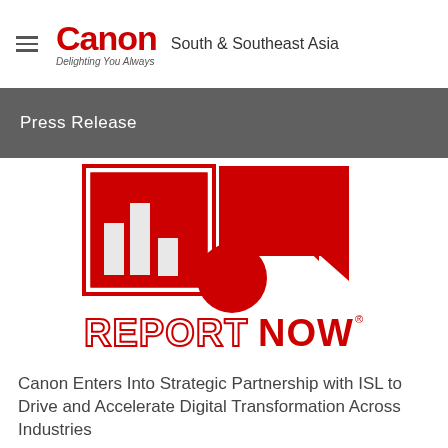Canon  South & Southeast Asia  Delighting You Always
Press Release
[Figure (logo): ReportNow logo — red graphic mark featuring bar chart and geometric shapes above the word REPORTNOW in red outlined block letters with registered trademark symbol]
Canon Enters Into Strategic Partnership with ISL to Drive and Accelerate Digital Transformation Across Industries